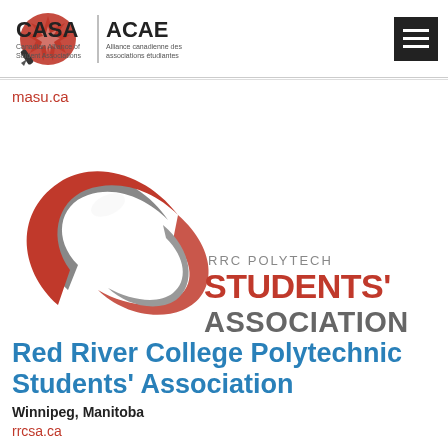[Figure (logo): CASA ACAE logo - Canadian Alliance of Student Associations / Alliance canadienne des associations étudiantes with maple leaf and pen icon]
masu.ca
[Figure (logo): RRC Polytech Students' Association logo - red and grey swoosh shape with text 'RRC POLYTECH STUDENTS' ASSOCIATION']
Red River College Polytechnic Students' Association
Winnipeg, Manitoba
rrcsa.ca